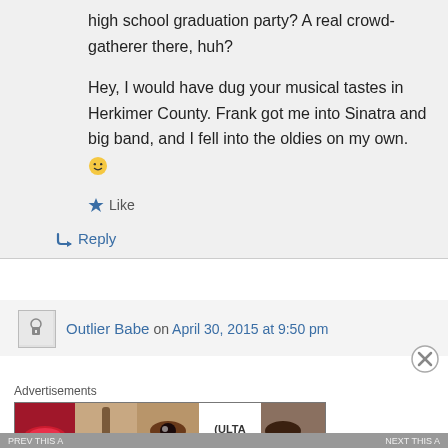high school graduation party? A real crowd-gatherer there, huh?
Hey, I would have dug your musical tastes in Herkimer County. Frank got me into Sinatra and big band, and I fell into the oldies on my own. 🙂
★ Like
↳ Reply
Outlier Babe on April 30, 2015 at 9:50 pm
Advertisements